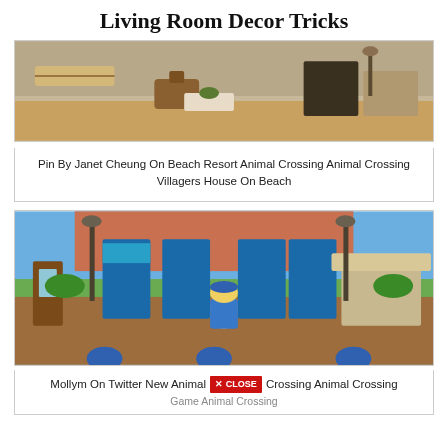Living Room Decor Tricks
[Figure (photo): Animal Crossing beach resort scene with wicker furniture, lounge chairs, and a hammock on a wooden deck]
Pin By Janet Cheung On Beach Resort Animal Crossing Animal Crossing Villagers House On Beach
[Figure (photo): Animal Crossing town plaza scene with a player character in a captain outfit sitting on a bench surrounded by bulletin boards, phone booth, market stall, and lamp posts]
Mollym On Twitter New Animal Crossing Animal Crossing Game Animal Crossing